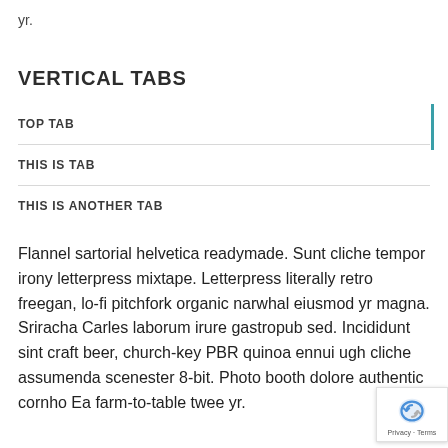yr.
VERTICAL TABS
TOP TAB
THIS IS TAB
THIS IS ANOTHER TAB
Flannel sartorial helvetica readymade. Sunt cliche tempor irony letterpress mixtape. Letterpress literally retro freegan, lo-fi pitchfork organic narwhal eiusmod yr magna. Sriracha Carles laborum irure gastropub sed. Incididunt sint craft beer, church-key PBR quinoa ennui ugh cliche assumenda scenester 8-bit. Photo booth dolore authentic cornho Ea farm-to-table twee yr.